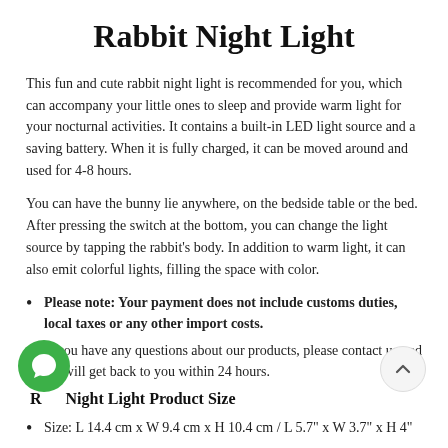Rabbit Night Light
This fun and cute rabbit night light is recommended for you, which can accompany your little ones to sleep and provide warm light for your nocturnal activities. It contains a built-in LED light source and a saving battery. When it is fully charged, it can be moved around and used for 4-8 hours.
You can have the bunny lie anywhere, on the bedside table or the bed. After pressing the switch at the bottom, you can change the light source by tapping the rabbit's body. In addition to warm light, it can also emit colorful lights, filling the space with color.
Please note: Your payment does not include customs duties, local taxes or any other import costs.
If you have any questions about our products, please contact us and we will get back to you within 24 hours.
Rabbit Night Light Product Size
Size: L 14.4 cm x W 9.4 cm x H 10.4 cm / L 5.7" x W 3.7" x H 4"